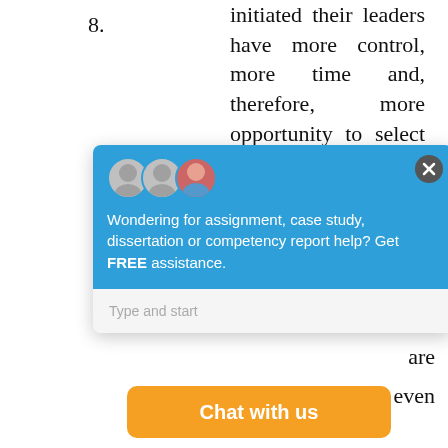8. initiated their leaders have more control, more time and, therefore, more opportunity to select best approach to … e is these are even negated.
[Figure (screenshot): Chat widget overlay with blue header showing avatars, text 'Wondering for assignment, case study, dissertation or competency report help? Get FREE assistance.' and input field 'Type and start', plus close button]
[Figure (screenshot): Orange 'Chat with us' button at the bottom of the page]